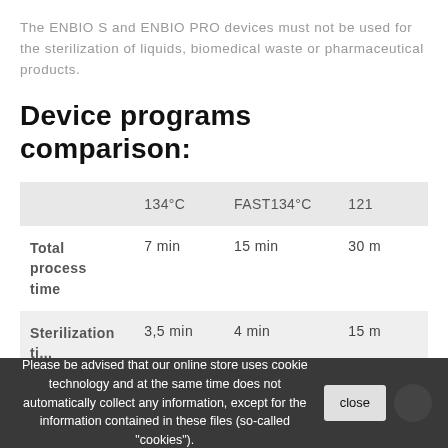The ENBIO S and ENBIO PRO devices must not be used for the sterilization of liquids, biomedical waste or pharmaceutical products.
Device programs comparison:
|  | 134°C | FAST 134°C | 121... |
| --- | --- | --- | --- |
| Total process time | 7 min | 15 min | 30 m... |
| Sterilization time | 3,5 min | 4 min | 15 m... |
Please be advised that our online store uses cookie technology and at the same time does not automatically collect any information, except for the information contained in these files (so-called "cookies").